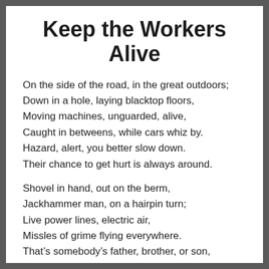Keep the Workers Alive
On the side of the road, in the great outdoors;
Down in a hole, laying blacktop floors,
Moving machines, unguarded, alive,
Caught in betweens, while cars whiz by.
Hazard, alert, you better slow down.
Their chance to get hurt is always around.
Shovel in hand, out on the berm,
Jackhammer man, on a hairpin turn;
Live power lines, electric air,
Missles of grime flying everywhere.
That's somebody's father, brother, or son,
Somewhere a sister, a mother, a loved one.